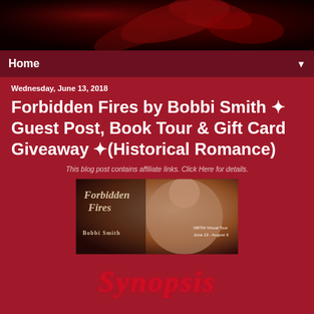[Figure (photo): Dark red rose header image background]
Home ▼
Wednesday, June 13, 2018
Forbidden Fires by Bobbi Smith ✦ Guest Post, Book Tour & Gift Card Giveaway ✦(Historical Romance)
This blog post contains affiliate links.  Click Here for details.
[Figure (photo): Forbidden Fires by Bobbi Smith book tour banner. Shows a romance novel cover with a woman in period dress, title 'Forbidden Fires' and 'Bobbi Smith', NBTM Virtual Tour June 13 - August 6]
[Figure (illustration): Synopsis decorative heading in red cursive script with white glow effect]